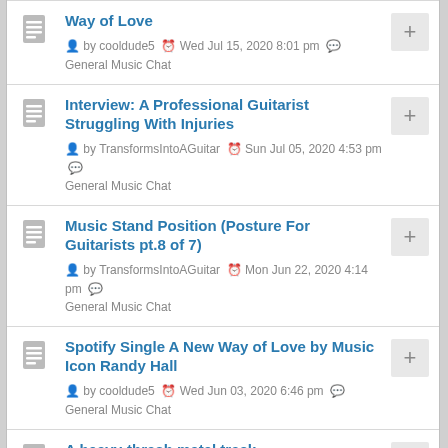Way of Love — by cooldude5 — Wed Jul 15, 2020 8:01 pm — General Music Chat
Interview: A Professional Guitarist Struggling With Injuries — by TransformsIntoAGuitar — Sun Jul 05, 2020 4:53 pm — General Music Chat
Music Stand Position (Posture For Guitarists pt.8 of 7) — by TransformsIntoAGuitar — Mon Jun 22, 2020 4:14 pm — General Music Chat
Spotify Single A New Way of Love by Music Icon Randy Hall — by cooldude5 — Wed Jun 03, 2020 6:46 pm — General Music Chat
A heavy-thrash metal track — by ValentinBk — Fri May 01, 2020 9:47 am — General Music Chat